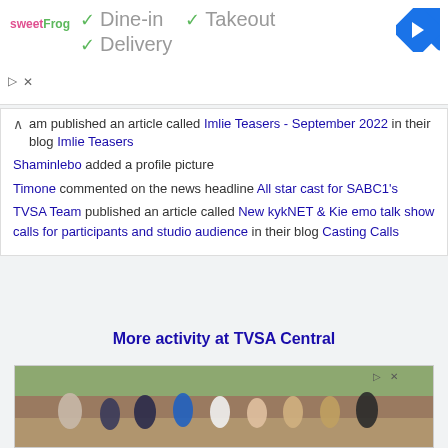[Figure (screenshot): Ad banner for sweetFrog restaurant with green checkmarks showing Dine-in, Takeout, and Delivery options, a blue navigation arrow icon, and ad controls]
am published an article called Imlie Teasers - September 2022 in their blog Imlie Teasers
Shaminlebo added a profile picture
Timone commented on the news headline All star cast for SABC1's
TVSA Team published an article called New kykNET & Kie emo talk show calls for participants and studio audience in their blog Casting Calls
More activity at TVSA Central
[Figure (photo): Group of diverse young professionals sitting on stone benches outdoors in a park-like setting with green vegetation in the background]